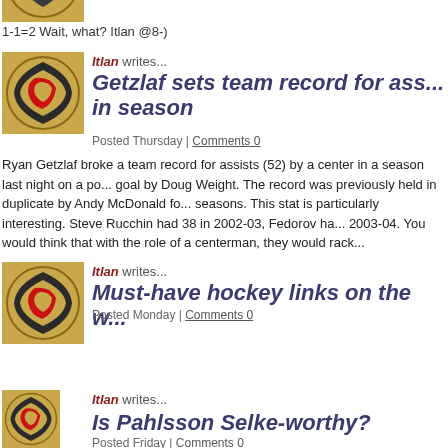[Figure (logo): Anaheim Ducks logo (partial, top)]
1-1=2 Wait, what? Itlan @8-)
[Figure (logo): Anaheim Ducks logo]
Itlan writes...
Getzlaf sets team record for ass... in season
Posted Thursday | Comments 0
Ryan Getzlaf broke a team record for assists (52) by a center in a season last night on a po... goal by Doug Weight. The record was previously held in duplicate by Andy McDonald fo... seasons. This stat is particularly interesting. Steve Rucchin had 38 in 2002-03, Fedorov ha... 2003-04. You would think that with the role of a centerman, they would rack...
[Figure (logo): Anaheim Ducks logo]
Itlan writes...
Must-have hockey links on the w...
Posted Monday | Comments 0
I don't have a mathematician's mind. But I like to write programs. My statistical analysis o... started in 2003 when the Mighty Ducks of Anaheim (as they were known back then) were... like they were going to make the playoffs. I made a very simple Excel spreadsheet to trac... progress of the standings points for the Ducks. It can be seen [url=http://itlan.kick...
[Figure (logo): Anaheim Ducks logo]
Itlan writes...
Is Pahlsson Selke-worthy?
Posted Friday | Comments 0